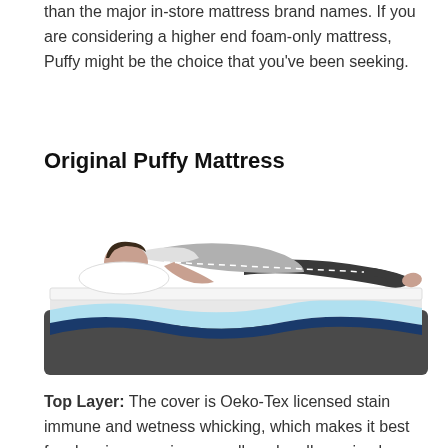than the major in-store mattress brand names. If you are considering a higher end foam-only mattress, Puffy might be the choice that you've been seeking.
Original Puffy Mattress
[Figure (illustration): Illustration of a person lying on their side on the Original Puffy Mattress, showing a cross-section of the mattress layers including a dark grey outer layer, white foam layer, light blue cooling layer, and navy blue base layer.]
Top Layer: The cover is Oeko-Tex licensed stain immune and wetness whicking, which makes it best for sleeping amazing as well as dry all evening long.